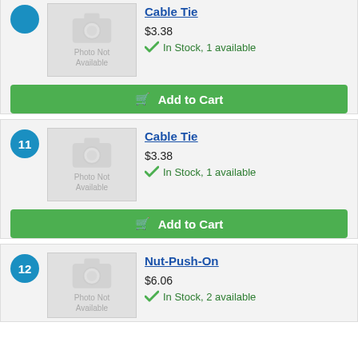Cable Tie
$3.38
In Stock, 1 available
Add to Cart
11
Cable Tie
$3.38
In Stock, 1 available
Add to Cart
12
Nut-Push-On
$6.06
In Stock, 2 available